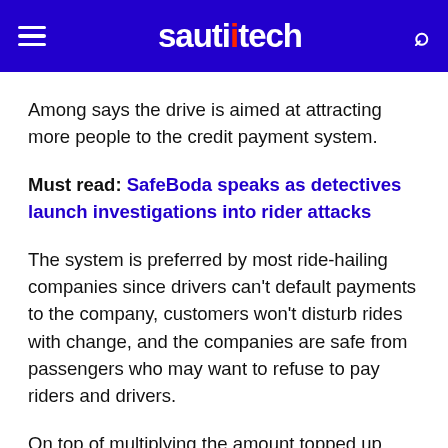sautitech
Among says the drive is aimed at attracting more people to the credit payment system.
Must read: SafeBoda speaks as detectives launch investigations into rider attacks
The system is preferred by most ride-hailing companies since drivers can't default payments to the company, customers won't disturb rides with change, and the companies are safe from passengers who may want to refuse to pay riders and drivers.
On top of multiplying the amount topped up, SafeBoda also